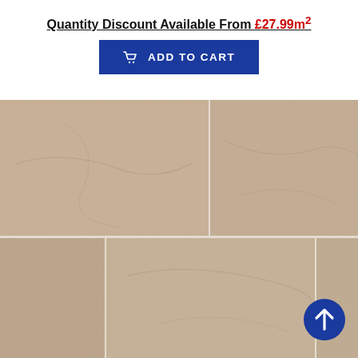Quantity Discount Available From £27.99m²
[Figure (other): Blue 'Add to Cart' button with shopping cart icon]
[Figure (photo): Stone tile flooring product image showing beige/taupe coloured tiles arranged in a pattern with grout lines. Multiple rows and columns of tiles visible.]